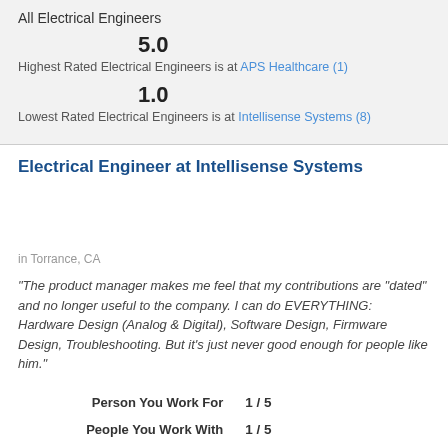All Electrical Engineers
5.0
Highest Rated Electrical Engineers is at APS Healthcare (1)
1.0
Lowest Rated Electrical Engineers is at Intellisense Systems (8)
Electrical Engineer at Intellisense Systems
[Figure (other): 1 out of 5 stars rating — one filled gold star and four empty gray stars (large size)]
in Torrance, CA
"The product manager makes me feel that my contributions are "dated" and no longer useful to the company. I can do EVERYTHING: Hardware Design (Analog & Digital), Software Design, Firmware Design, Troubleshooting. But it's just never good enough for people like him."
| Person You Work For | 1 / 5 |
| People You Work With | 1 / 5 |